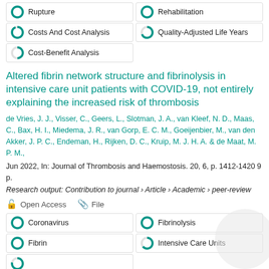Rupture
Rehabilitation
Costs And Cost Analysis
Quality-Adjusted Life Years
Cost-Benefit Analysis
Altered fibrin network structure and fibrinolysis in intensive care unit patients with COVID-19, not entirely explaining the increased risk of thrombosis
de Vries, J. J., Visser, C., Geers, L., Slotman, J. A., van Kleef, N. D., Maas, C., Bax, H. I., Miedema, J. R., van Gorp, E. C. M., Goeijenbier, M., van den Akker, J. P. C., Endeman, H., Rijken, D. C., Kruip, M. J. H. A. & de Maat, M. P. M., Jun 2022, In: Journal of Thrombosis and Haemostosis. 20, 6, p. 1412-1420 9 p.
Research output: Contribution to journal › Article › Academic › peer-review
Open Access   File
Coronavirus
Fibrinolysis
Fibrin
Intensive Care Units